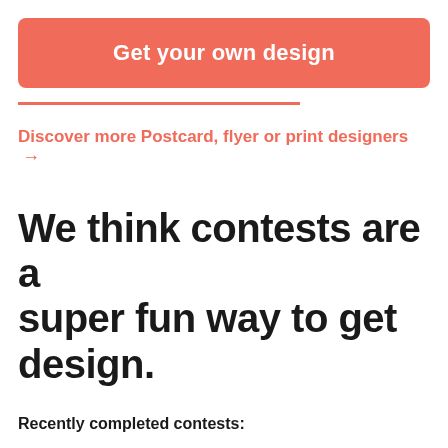[Figure (screenshot): Red/coral rounded button labeled 'Get your own design' in white bold text]
Discover more Postcard, flyer or print designers →
We think contests are a super fun way to get design.
Recently completed contests: